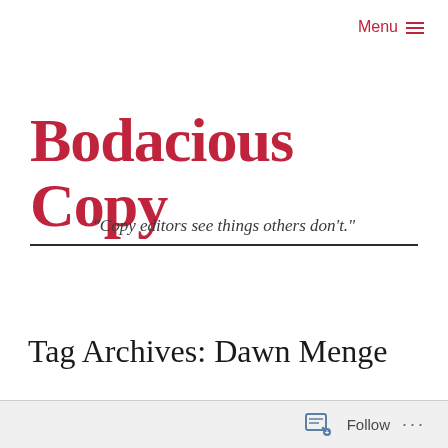Menu ≡
Bodacious Copy
"Copy editors see things others don't."
Tag Archives: Dawn Menge
Follow ...